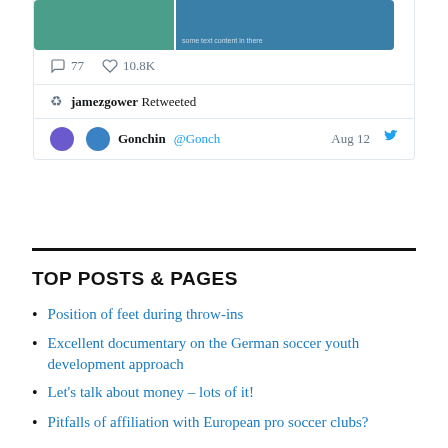[Figure (screenshot): Twitter/X screenshot showing tweet images, stats (77 comments, 10.8K likes), a retweet by jamezgower, and the beginning of a retweeted post by Gonchin (@Gonch) dated Aug 12]
TOP POSTS & PAGES
Position of feet during throw-ins
Excellent documentary on the German soccer youth development approach
Let's talk about money – lots of it!
Pitfalls of affiliation with European pro soccer clubs?